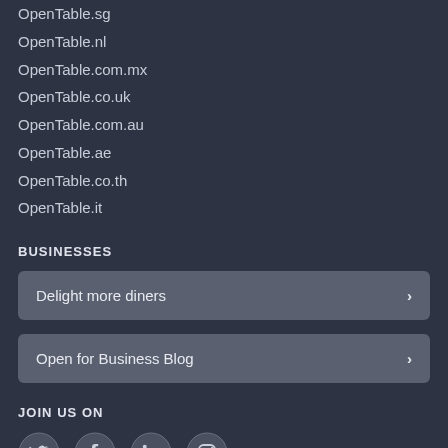OpenTable.sg
OpenTable.nl
OpenTable.com.mx
OpenTable.co.uk
OpenTable.com.au
OpenTable.ae
OpenTable.co.th
OpenTable.it
BUSINESSES
Delight more diners
Open for Business Blog
JOIN US ON
[Figure (infographic): Social media icons: Twitter, Facebook, LinkedIn, Instagram]